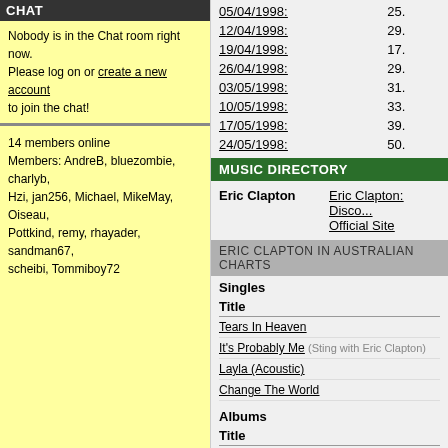CHAT
Nobody is in the Chat room right now. Please log on or create a new account to join the chat!
14 members online
Members: AndreB, bluezombie, charlyb, Hzi, jan256, Michael, MikeMay, Oiseau, Pottkind, remy, rhayader, sandman67, scheibi, Tommiboy72
| Date | Rank |
| --- | --- |
| 05/04/1998: | 25. |
| 12/04/1998: | 29. |
| 19/04/1998: | 17. |
| 26/04/1998: | 29. |
| 03/05/1998: | 31. |
| 10/05/1998: | 33. |
| 17/05/1998: | 39. |
| 24/05/1998: | 50. |
MUSIC DIRECTORY
| Artist | Links |
| --- | --- |
| Eric Clapton | Eric Clapton: Disco...
Official Site |
ERIC CLAPTON IN AUSTRALIAN CHARTS
Singles
| Title |
| --- |
| Tears In Heaven |
| It's Probably Me (Sting with Eric Clapton) |
| Layla (Acoustic) |
| Change The World |
Albums
| Title |
| --- |
| The Cream Of Clapton |
| Journeyman |
| 24 Nights |
| Unplugged |
| From The Cradle |